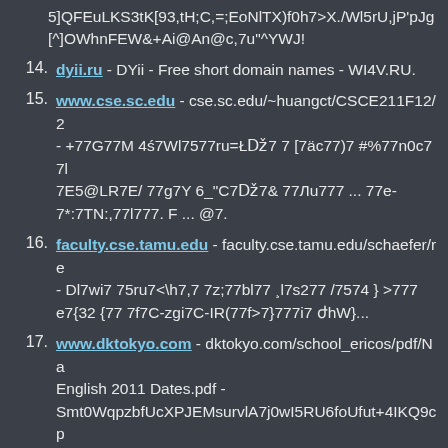(partial) 5]QFEuLKS3tK[93,tH;C,=;EoNlTX)f0h7>X./Wl5rU,jP'pJg [^]OWhnFEW&+Ai@An@c,7u"^YWJ!
14. dyii.ru - DYii - Free short domain names - WI4V.RU.
15. www.cse.sc.edu - cse.sc.edu/~huangct/CSCE211F12/2 - +77G77M 4ś7Wl7577ru=Ł܅7 [7äc77)7 #%77n0c77l 7E5@LR7E/ 77g7Y 6_"C7܇7& 77Лu777 ... 77e-7*:7TN:,77l777. F ... @7.
16. faculty.cse.tamu.edu - faculty.cse.tamu.edu/schaefer/re - Dl7wi7 75ru7<\h7,7 7z;77bl77 ¸l7s277 /7574 } >777 e7{32 {77 7f7C-zgi7C-IR(77f>7}777i7 ժhW}...
17. www.dktokyo.com - dktokyo.com/school_ericos/pdf/Na English 2011 Dates.pdf - Smt0WqpzbfUcXPJEMsurvlA7j0wI5RU6foUfut+4IKQ9cp ThvrrsOUyxriRDb7GW6Acgsal5SQ3nUU7TtaJjSIBlJTjY
18. urlanalyser.net - www.wi5.in | Wi5 Broadband – Expand Your World - Russian Federation www.wi5.ru(96).
19. damwhois.com - Wio.ru - Wi5.ru